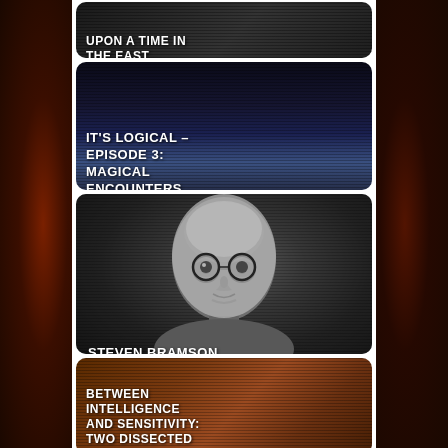[Figure (screenshot): Dark textured card with white bold text reading 'UPON A TIME IN THE EAST...']
[Figure (screenshot): Space/planet background card with white bold text reading 'IT'S LOGICAL – EPISODE 3: MAGICAL ENCOUNTERS...']
[Figure (photo): Black and white portrait photo of a man with glasses and bald head with text 'STEVEN BRAMSON']
[Figure (screenshot): Reddish-brown card showing a muscular figure with white bold text reading 'BETWEEN INTELLIGENCE AND SENSITIVITY: TWO DISSECTED UNTRUTHS...']